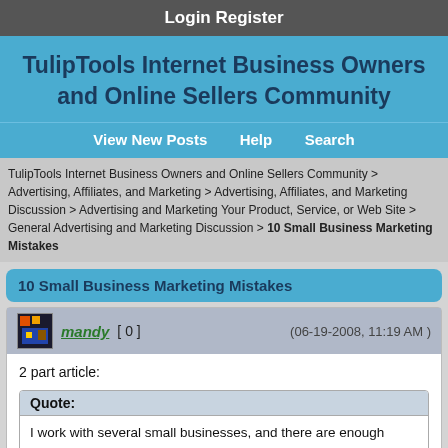Login   Register
TulipTools Internet Business Owners and Online Sellers Community
View New Posts   Help   Search
TulipTools Internet Business Owners and Online Sellers Community > Advertising, Affiliates, and Marketing > Advertising, Affiliates, and Marketing Discussion > Advertising and Marketing Your Product, Service, or Web Site > General Advertising and Marketing Discussion > 10 Small Business Marketing Mistakes
10 Small Business Marketing Mistakes
mandy [ 0 ]   (06-19-2008, 11:19 AM )
2 part article:
Quote: I work with several small businesses, and there are enough miscues out there in the marketing world that they warrant a quick rundown...